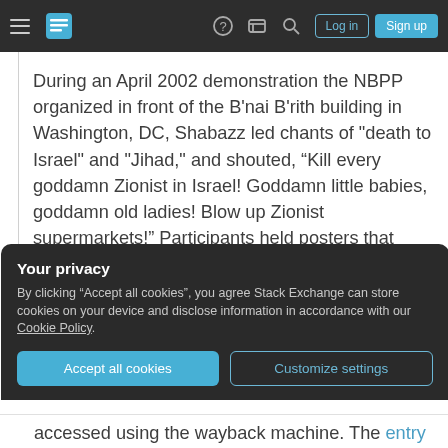Stack Exchange navigation bar with hamburger menu, logo, help, chat, search icons, Log in and Sign up buttons
During an April 2002 demonstration the NBPP organized in front of the B'nai B'rith building in Washington, DC, Shabazz led chants of "death to Israel" and "Jihad," and shouted, “Kill every goddamn Zionist in Israel! Goddamn little babies, goddamn old ladies! Blow up Zionist supermarkets!” Participants held posters that read, “The American Israeli White Man is the Devil”
Your privacy
By clicking “Accept all cookies”, you agree Stack Exchange can store cookies on your device and disclose information in accordance with our Cookie Policy.
accessed using the wayback machine. The entry